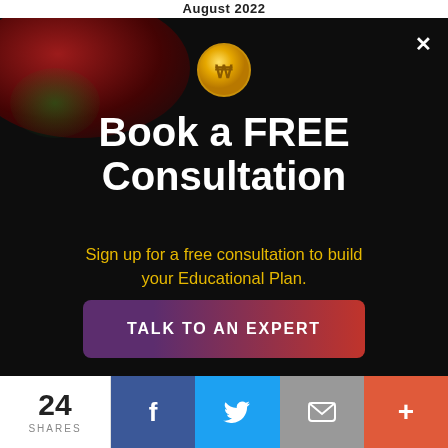August 2022
[Figure (screenshot): Modal popup with dark background, gold coin icon, headline 'Book a FREE Consultation', subtitle about educational plan, and red 'TALK TO AN EXPERT' button]
Book a FREE Consultation
Sign up for a free consultation to build your Educational Plan.
TALK TO AN EXPERT
24 SHARES